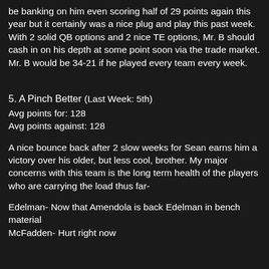be banking on him even scoring half of 29 points again this year but it certainly was a nice plug and play this past week. With 2 solid QB options and 2 nice TE options, Mr. B should cash in on his depth at some point soon via the trade market. Mr. B would be 34-21 if he played every team every week.
5. A Pinch Better (Last Week: 5th)
Avg points for: 128
Avg points against: 128
A nice bounce back after 2 slow weeks for Sean earns him a victory over his older, but less cool, brother. My major concerns with this team is the long term health of the players who are carrying the load thus far-
Edelman- Now that Amendola is back Edelman in bench material
McFadden- Hurt right now